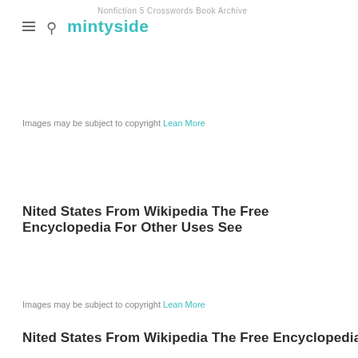mintyside — Nonfiction 5 Crosswords Book Archive
Images may be subject to copyright Lean More
Nited States From Wikipedia The Free Encyclopedia For Other Uses See
Images may be subject to copyright Lean More
Nited States From Wikipedia The Free Encyclopedia For Other Uses See